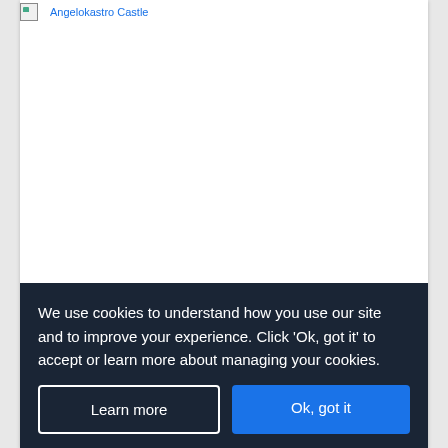[Figure (photo): Broken image placeholder for Angelokastro Castle photo, shown as small broken image icon with link text 'Angelokastro Castle' in blue]
Angelokastro Castle
Corfu
The Byzantine Angelokastro Castle, or Castle of Angels, stands on
We use cookies to understand how you use our site and to improve your experience. Click 'Ok, got it' to accept or learn more about managing your cookies.
Learn more
Ok, got it